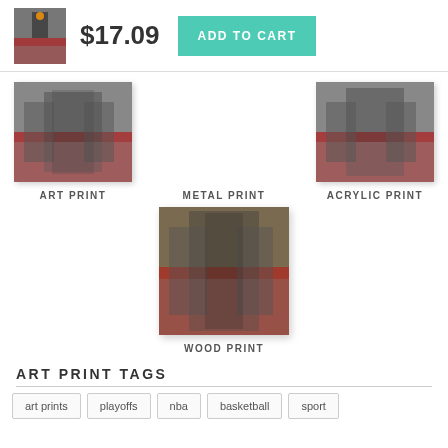[Figure (photo): Basketball player photo thumbnail]
$17.09
ADD TO CART
[Figure (photo): Basketball art print thumbnail]
ART PRINT
METAL PRINT
[Figure (photo): Basketball acrylic print thumbnail]
ACRYLIC PRINT
[Figure (photo): Basketball wood print thumbnail]
WOOD PRINT
ART PRINT TAGS
art prints
playoffs
nba
basketball
sport